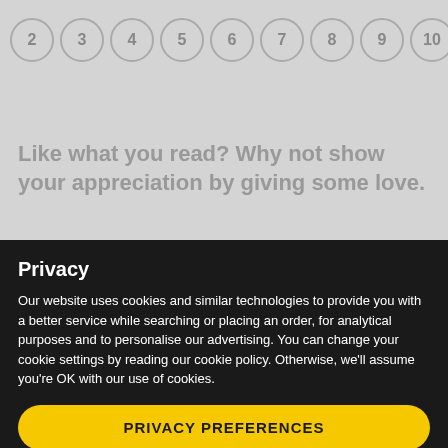2 3 4 5 6 7 8 9 10 11 12
Like what you read? Why not show your appreciation by giving some love.
Privacy
Our website uses cookies and similar technologies to provide you with a better service while searching or placing an order, for analytical purposes and to personalise our advertising. You can change your cookie settings by reading our cookie policy. Otherwise, we'll assume you're OK with our use of cookies.
PRIVACY PREFERENCES
I AGREE